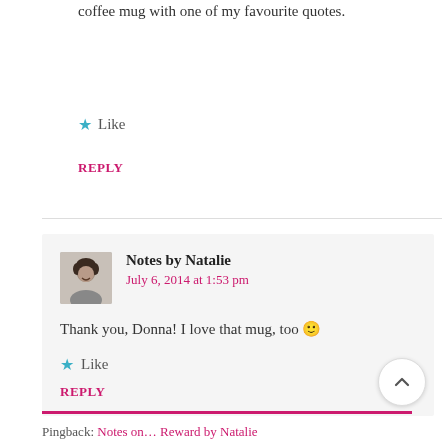coffee mug with one of my favourite quotes.
★ Like
REPLY
Notes by Natalie
July 6, 2014 at 1:53 pm
Thank you, Donna! I love that mug, too 🙂
★ Like
REPLY
Pingback: Notes on… Reward by Natalie